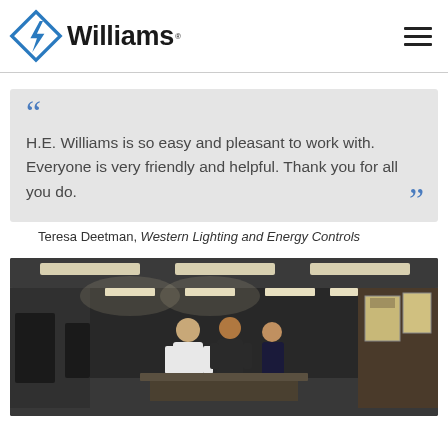[Figure (logo): Williams company logo: blue diamond shape with lightning bolt, text 'Williams' in bold black]
H.E. Williams is so easy and pleasant to work with. Everyone is very friendly and helpful. Thank you for all you do.
Teresa Deetman, Western Lighting and Energy Controls
[Figure (photo): Interior photo of a commercial/industrial space with fluorescent lighting, showing people in a corridor or office area]